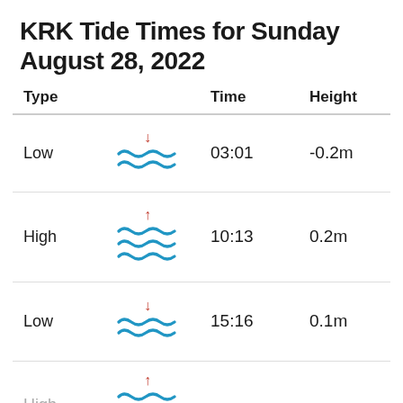KRK Tide Times for Sunday August 28, 2022
| Type |  | Time | Height |
| --- | --- | --- | --- |
| Low | [low tide icon] | 03:01 | -0.2m |
| High | [high tide icon] | 10:13 | 0.2m |
| Low | [low tide icon] | 15:16 | 0.1m |
| High | [high tide icon partial] |  |  |